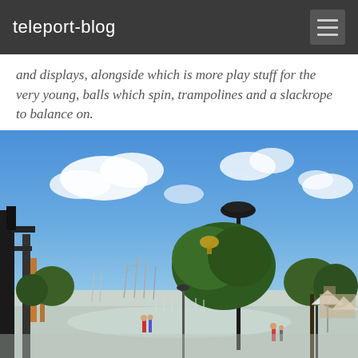teleport-blog
and displays, alongside which is more play stuff for the very young, balls which spin, trampolines and a slackrope to balance on.
[Figure (photo): Outdoor waterfront promenade or park scene on a sunny day with bright blue sky and white clouds. On the left is a dark metal structure (possibly a sculpture or architectural element). A tall modern streetlamp stands in the center-right. Trees including a large green tree with what appears to be a golden dome peeking above it are in the background. People walk along a paved area with what appear to be water fountains at ground level. Sailboat masts are visible to the left. White umbrellas/canopies are visible to the right.]